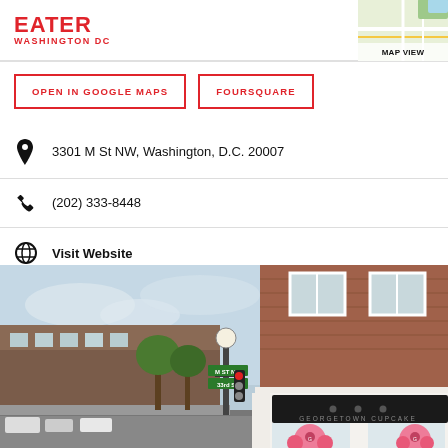EATER WASHINGTON DC
MAP VIEW
OPEN IN GOOGLE MAPS
FOURSQUARE
3301 M St NW, Washington, D.C. 20007
(202) 333-8448
Visit Website
[Figure (photo): Street-level photo of Georgetown Cupcake storefront at 3301 M St NW, Washington DC. Shows a brick building with a black awning reading 'Georgetown Cupcake', large pink cupcake logos in the windows, and a street corner with traffic lights and green street signs visible.]